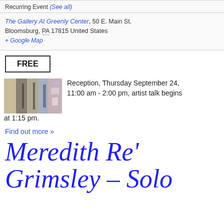Recurring Event (See all)
The Gallery At Greenly Center, 50 E. Main St. Bloomsburg, PA 17815 United States + Google Map
FREE
[Figure (photo): Thumbnail photo of an art gallery interior showing framed artwork on walls]
Reception, Thursday September 24, 11:00 am - 2:00 pm, artist talk begins at 1:15 pm.
Find out more »
Meredith Re' Grimsley – Solo